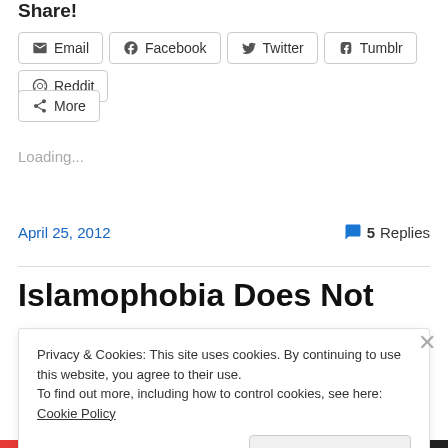Share!
Email  Facebook  Twitter  Tumblr  Reddit  More
Loading...
April 25, 2012    5 Replies
Islamophobia Does Not
Privacy & Cookies: This site uses cookies. By continuing to use this website, you agree to their use. To find out more, including how to control cookies, see here: Cookie Policy
Close and accept